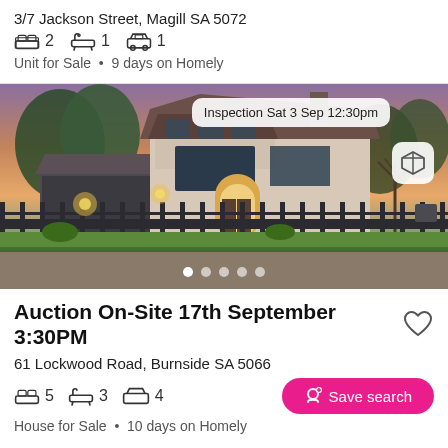3/7 Jackson Street, Magill SA 5072
2  1  1
Unit for Sale • 9 days on Homely
[Figure (photo): Exterior photo of a two-storey house at dusk with iron fence, lush green lawn, warm interior lighting, and trees in background. Inspection badge overlay: 'Inspection Sat 3 Sep 12:30pm'. Five dot carousel indicators at bottom.]
Auction On-Site 17th September 3:30PM
61 Lockwood Road, Burnside SA 5066
5  3  4
Save search
House for Sale • 10 days on Homely